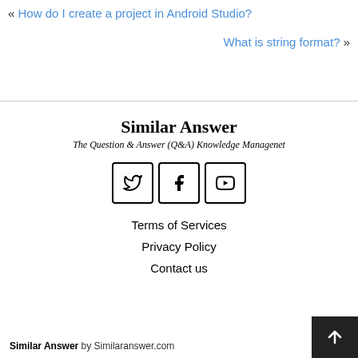« How do I create a project in Android Studio?
What is string format? »
Similar Answer
The Question & Answer (Q&A) Knowledge Managenet
[Figure (other): Three social media icons with borders: Twitter (bird), Facebook (f), YouTube (play button)]
Terms of Services
Privacy Policy
Contact us
Similar Answer by Similaranswer.com